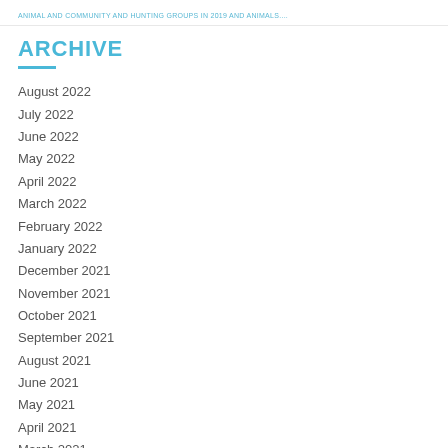ANIMAL AND COMMUNITY AND HUNTING GROUPS IN 2019 AND ANIMALS....
ARCHIVE
August 2022
July 2022
June 2022
May 2022
April 2022
March 2022
February 2022
January 2022
December 2021
November 2021
October 2021
September 2021
August 2021
June 2021
May 2021
April 2021
March 2021
January 2021
December 2020
November 2020
October 2020